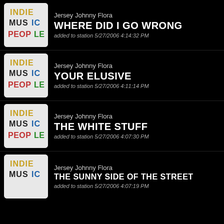[Figure (logo): Indie Music People logo - colorful text art]
Jersey Johnny Flora
WHERE DID I GO WRONG
added to station 5/27/2006 4:14:32 PM
[Figure (logo): Indie Music People logo - colorful text art]
Jersey Johnny Flora
YOUR ELUSIVE
added to station 5/27/2006 4:11:14 PM
[Figure (logo): Indie Music People logo - colorful text art]
Jersey Johnny Flora
THE WHITE STUFF
added to station 5/27/2006 4:07:30 PM
[Figure (logo): Indie Music People logo - colorful text art]
Jersey Johnny Flora
THE SUNNY SIDE OF THE STREET
added to station 5/27/2006 4:07:19 PM